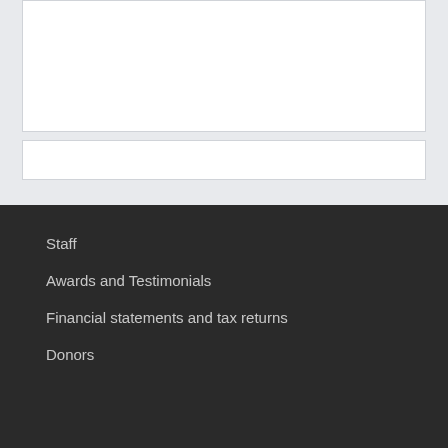[Figure (other): White content box placeholder at top of page]
[Figure (other): White content box placeholder below top box]
Staff
Awards and Testimonials
Financial statements and tax returns
Donors